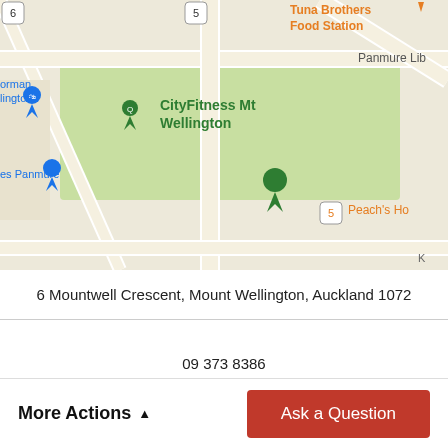[Figure (map): Google Maps screenshot showing location near 6 Mountwell Crescent, Mount Wellington, Auckland. Visible landmarks include CityFitness Mt Wellington, Panmure Library, Peach's Ho, and Tuna Brothers Food Station.]
6 Mountwell Crescent, Mount Wellington, Auckland 1072
09 373 8386
mountwell@sundaydrive.co.nz
[Figure (photo): Circular portrait photo of a young man with short blond hair and stubble, wearing a dark top, smiling slightly.]
More Actions
Ask a Question